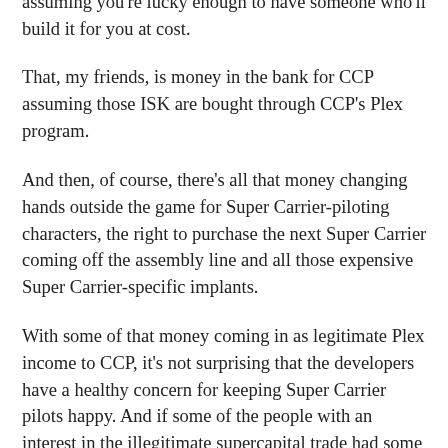bargain-basement priced Nyx in-game. Mind, that's assuming you're lucky enough to have someone who'll build it for you at cost.
That, my friends, is money in the bank for CCP assuming those ISK are bought through CCP's Plex program.
And then, of course, there's all that money changing hands outside the game for Super Carrier-piloting characters, the right to purchase the next Super Carrier coming off the assembly line and all those expensive Super Carrier-specific implants.
With some of that money coming in as legitimate Plex income to CCP, it's not surprising that the developers have a healthy concern for keeping Super Carrier pilots happy. And if some of the people with an interest in the illegitimate supercapital trade had some degree of influence over CCP, why there'd even more leverage for maintaining the Super Carriers' position as the "must-have" item in nullsec.
Now, given the Super Carrier's ability to project power over a